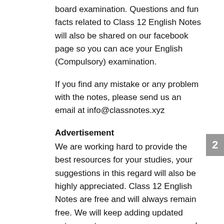board examination. Questions and fun facts related to Class 12 English Notes will also be shared on our facebook page so you can ace your English (Compulsory) examination.
If you find any mistake or any problem with the notes, please send us an email at info@classnotes.xyz
Advertisement
We are working hard to provide the best resources for your studies, your suggestions in this regard will also be highly appreciated. Class 12 English Notes are free and will always remain free. We will keep adding updated notes, past papers, guess papers and other materials with time. We will also introduce a mobile app for viewing all the notes on mobile.
Make sure to comment down your experience regarding our website. Also tell us what other features and resources would you like to see in the website. We will